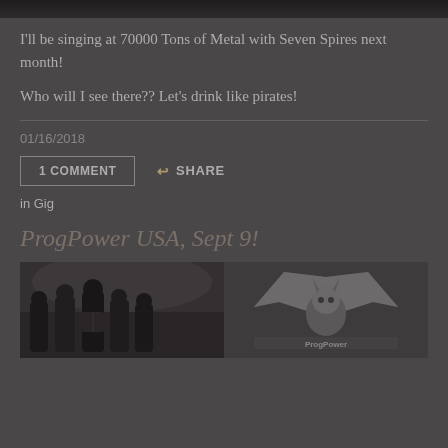[Figure (photo): Dark background image at top of page]
I'll be singing at 70000 Tons of Metal with Seven Spires next month!
Who will I see there?? Let's drink like pirates!
01/16/2018
1 COMMENT
SHARE
in Gig
ProgPower USA, Sept 9!
[Figure (photo): Band photo on left, logo on right at bottom of page]